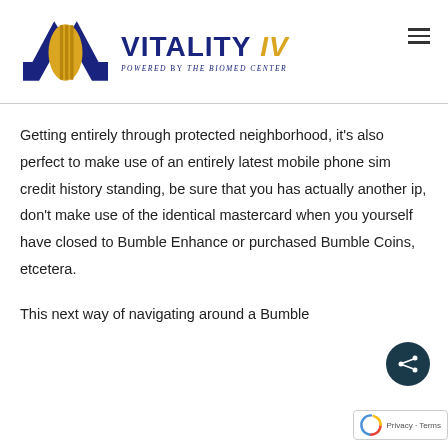[Figure (logo): Vitality IV logo with DNA helix icon in blue and gold, text 'VITALITY IV' in navy, 'POWERED BY THE BIOMED CENTER' below in small caps]
Getting entirely through protected neighborhood, it’s also perfect to make use of an entirely latest mobile phone sim credit history standing, be sure that you has actually another ip, don’t make use of the identical mastercard when you yourself have closed to Bumble Enhance or purchased Bumble Coins, etcetera.
This next way of navigating around a Bumble